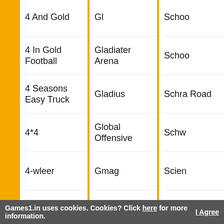4 And Gold
4 In Gold Football
4 Seasons Easy Truck
4*4
4-wleer
4d
4x4
4X4 Soccer Car
4x4soccer
5 Nights
5 Nights At Freddys
Gl
Gladiater Arena
Gladius
Global Offensive
Gmag
Gmao
Gmaod
Gmd
Gmmod
GMNGVFKGNGNJH
Gmod
Schoo
Schoo
Schra Road
Schw
Scien
Scien
Sciss
Sckat
Scoby
Scoce
Scoob
Games1.in uses cookies. Cookies? Click here for more information.  I Agree